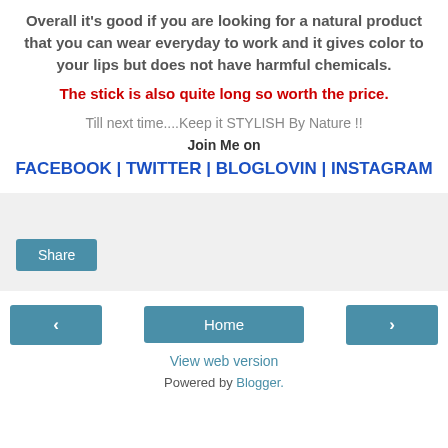Overall it's good if you are looking for a natural product that you can wear everyday to work and it gives color to your lips but does not have harmful chemicals.
The stick is also quite long so worth the price.
Till next time....Keep it STYLISH By Nature !! Join Me on FACEBOOK | TWITTER | BLOGLOVIN | INSTAGRAM
[Figure (screenshot): Share button widget area with light gray background]
< Home > View web version Powered by Blogger.